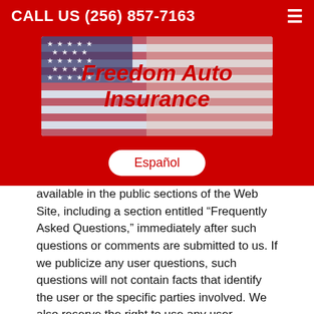CALL US (256) 857-7163
[Figure (logo): Freedom Auto Insurance logo banner with American flag background and bold red italic text reading 'Freedom Auto Insurance']
Español
available in the public sections of the Web Site, including a section entitled “Frequently Asked Questions,” immediately after such questions or comments are submitted to us. If we publicize any user questions, such questions will not contain facts that identify the user or the specific parties involved. We also reserve the right to use any user comments submitted to us for